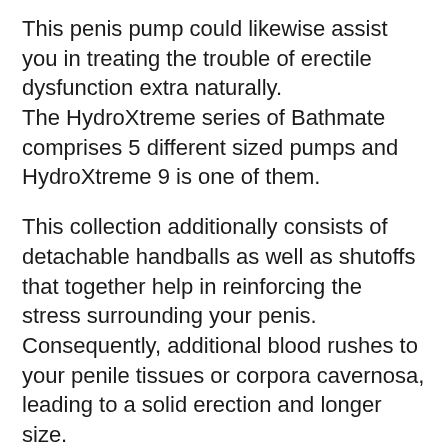This penis pump could likewise assist you in treating the trouble of erectile dysfunction extra naturally. The HydroXtreme series of Bathmate comprises 5 different sized pumps and HydroXtreme 9 is one of them.
This collection additionally consists of detachable handballs as well as shutoffs that together help in reinforcing the stress surrounding your penis. Consequently, additional blood rushes to your penile tissues or corpora cavernosa, leading to a solid erection and longer size.
Exactly How Bathmate HydroXtreme9 Works?
The working principle of Bathmate